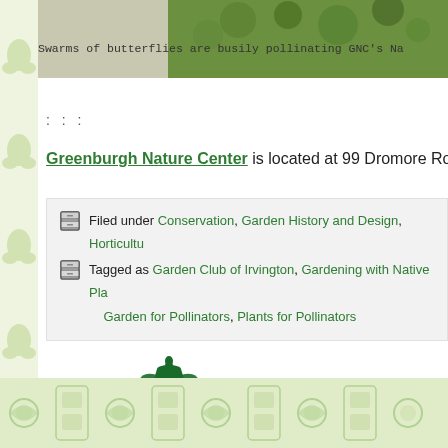[Figure (photo): Top portion of a nature/garden photograph, partially visible]
Swarms of butterflies are busily pollinating GNC's Na
: : :
Greenburgh Nature Center is located at 99 Dromore Road, Scarsdal
Filed under Conservation, Garden History and Design, Horticultu
Tagged as Garden Club of Irvington, Gardening with Native Pla, Garden for Pollinators, Plants for Pollinators
[Figure (logo): The Garden Club of America logo - decorative urn with leaves emblem, text MEMBER OF THE GARDEN CLUB OF AMERICA]